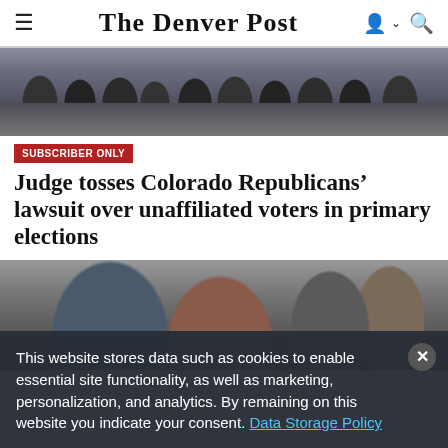The Denver Post
[Figure (photo): Crowd of people at an outdoor political rally, many wearing red hats, with barriers and equipment visible in background]
SUBSCRIBER ONLY
Judge tosses Colorado Republicans’ lawsuit over unaffiliated voters in primary elections
[Figure (photo): Three people standing indoors: a man in glasses and suit on left, a man in red shirt in center, and a woman with pearls and glasses on right]
This website stores data such as cookies to enable essential site functionality, as well as marketing, personalization, and analytics. By remaining on this website you indicate your consent. Data Storage Policy